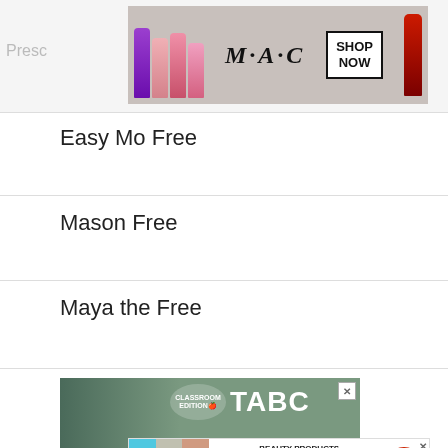[Figure (screenshot): MAC Cosmetics advertisement banner with lipsticks and SHOP NOW button]
Easy Mo Free
Mason Free
Maya the Free
[Figure (screenshot): TABC Classroom Edition advertisement: Where Best-selling Authors Teach Writing. Over 60 writing courses taught by professional authors! Get Started! button]
[Figure (screenshot): 37 Beauty Products with such good reviews you might want to try them yourself - 22 Words advertisement]